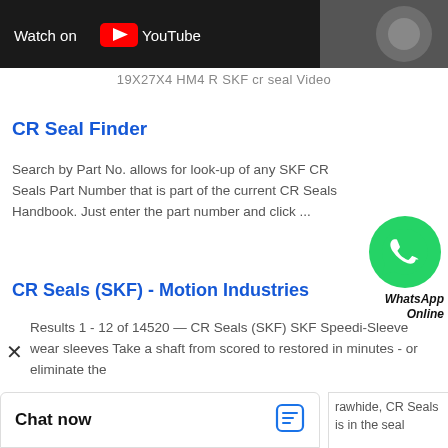[Figure (screenshot): YouTube video thumbnail bar showing 'Watch on YouTube' logo button on dark background with partial mechanical/seal image on the right]
19X27X4 HM4 R SKF cr seal Video
CR Seal Finder
Search by Part No. allows for look-up of any SKF CR Seals Part Number that is part of the current CR Seals Handbook. Just enter the part number and click ...
CR Seals (SKF) - Motion Industries
[Figure (logo): WhatsApp green circular icon with phone handset, with 'WhatsApp Online' text label]
Results 1 - 12 of 14520 — CR Seals (SKF) SKF Speedi-Sleeve wear sleeves Take a shaft from scored to restored in minutes - or eliminate the need to finish it in ...
CR Seals | SKF
rawhide, CR Seals is in the seal
Chat now